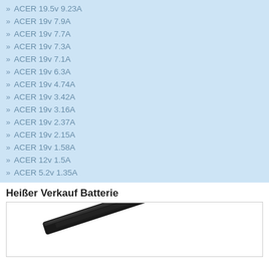» ACER 19.5v 9.23A
» ACER 19v 7.9A
» ACER 19v 7.7A
» ACER 19v 7.3A
» ACER 19v 7.1A
» ACER 19v 6.3A
» ACER 19v 4.74A
» ACER 19v 3.42A
» ACER 19v 3.16A
» ACER 19v 2.37A
» ACER 19v 2.15A
» ACER 19v 1.58A
» ACER 12v 1.5A
» ACER 5.2v 1.35A
Heißer Verkauf Batterie
[Figure (photo): A laptop battery shown diagonally against a white background, dark colored (black/dark grey) elongated battery pack.]